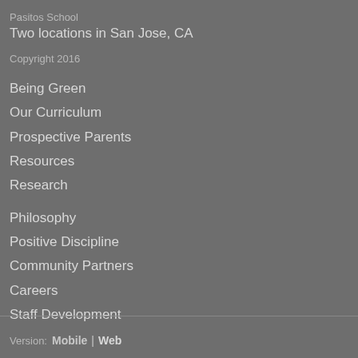Pasitos School
Two locations in San Jose, CA
Copyright 2016
Being Green
Our Curriculum
Prospective Parents
Resources
Research
Philosophy
Positive Discipline
Community Partners
Careers
Staff Development
Version:  Mobile  |  Web